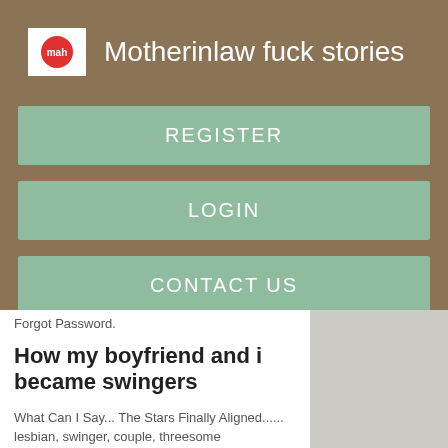Motherinlaw fuck stories
REGISTER
LOGIN
CONTACT US
Forgot Password.
How my boyfriend and i became swingers
What Can I Say... The Stars Finally Aligned...... lesbian, swinger, couple, threesome mmfthreesome ffmgroup, oral, bisexual,